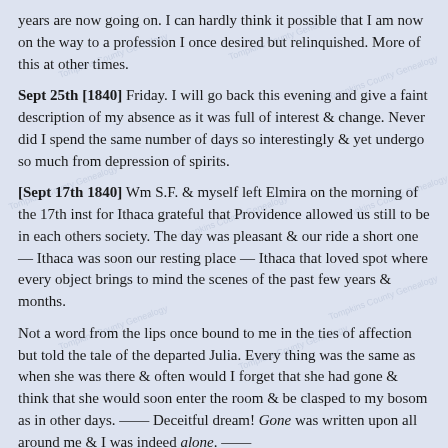years are now going on. I can hardly think it possible that I am now on the way to a profession I once desired but relinquished. More of this at other times.
Sept 25th [1840] Friday. I will go back this evening and give a faint description of my absence as it was full of interest & change. Never did I spend the same number of days so interestingly & yet undergo so much from depression of spirits.
[Sept 17th 1840] Wm S.F. & myself left Elmira on the morning of the 17th inst for Ithaca grateful that Providence allowed us still to be in each others society. The day was pleasant & our ride a short one — Ithaca was soon our resting place — Ithaca that loved spot where every object brings to mind the scenes of the past few years & months.
Not a word from the lips once bound to me in the ties of affection but told the tale of the departed Julia. Every thing was the same as when she was there & often would I forget that she had gone & think that she would soon enter the room & be clasped to my bosom as in other days. —— Deceitful dream! Gone was written upon all around me & I was indeed alone. ——
[Sept 18th 1840] Morning came & Franklin & myself were on our way to Willseyville. Home once again welcomed me to its charms but it seemed as though she was far away & could not feel the charms